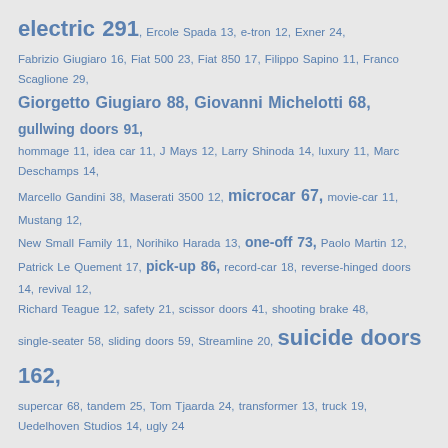electric 291, Ercole Spada 13, e-tron 12, Exner 24, Fabrizio Giugiaro 16, Fiat 500 23, Fiat 850 17, Filippo Sapino 11, Franco Scaglione 29, Giorgetto Giugiaro 88, Giovanni Michelotti 68, gullwing doors 91, hommage 11, idea car 11, J Mays 12, Larry Shinoda 14, luxury 11, Marc Deschamps 14, Marcello Gandini 38, Maserati 3500 12, microcar 67, movie-car 11, Mustang 12, New Small Family 11, Norihiko Harada 13, one-off 73, Paolo Martin 12, Patrick Le Quement 17, pick-up 86, record-car 18, reverse-hinged doors 14, revival 12, Richard Teague 12, safety 21, scissor doors 41, shooting brake 48, single-seater 58, sliding doors 59, Streamline 20, suicide doors 162, supercar 68, tandem 25, Tom Tjaarda 24, transformer 13, truck 19, Uedelhoven Studios 14, ugly 24
Hersteller
Titania 1 Abarth 28 AC 3 Acura 20 AeroMobil 3 Aiways 4 Alfa Romeo 130 Alpine 6 Alvis 1 American Motors 16 Apollo 5 Apperson 1 Ares Design 10 Arnolt 1 Artega 1 ASA 1 Asahi Kasei 2 Aston Martin 52 ATS 3 Auburn 3 Audi 80 Austin 6 Autech 2 Autobianchi 3 AZLK 4 Aznom 3 Beijing 1 Bentley 16 Bertone 12 Bizzarrini 1 BMW 114 Bond 1 Borgward 2 Brilliance 2 Bristol 5 Bugatti 44 Buick 51 Byton 2 Cadillac 67